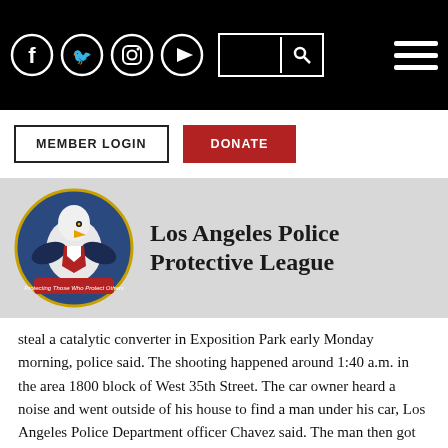Social media icons (Facebook, Twitter, Instagram, YouTube), search bar, hamburger menu
[Figure (logo): Los Angeles Police Protective League eagle logo with shield and banner]
Los Angeles Police Protective League
steal a catalytic converter in Exposition Park early Monday morning, police said. The shooting happened around 1:40 a.m. in the area 1800 block of West 35th Street. The car owner heard a noise and went outside of his house to find a man under his car, Los Angeles Police Department officer Chavez said. The man then got up from under the car holding “an unknown object” and the car owner fired a gunshot at the suspect, Chavez said. The suspect ran from the scene and was apprehended by police. He was then taken to a hospital in stable condition. No further details on the shooting were immediately available. The incident comes as the region sees an increase in catalytic converter thefts. In